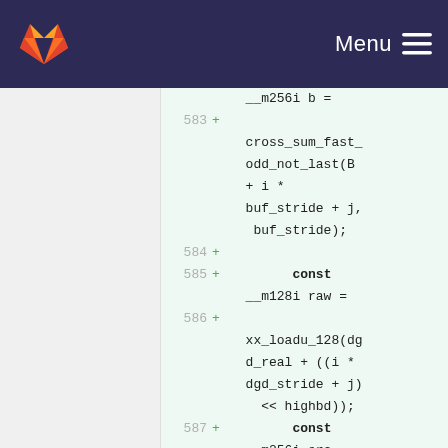GitLab — Menu
[Figure (screenshot): GitLab code diff view showing lines 583–588 with added lines in green. Code includes __m256i b = cross_sum_fast_odd_not_last(B + i * buf_stride + j, buf_stride); const __m128i raw = xx_loadu_128(dgd_real + ((i * dgd_stride + j) << highbd)); const __m256i src = highbd ? mm256_cvtepu16...]